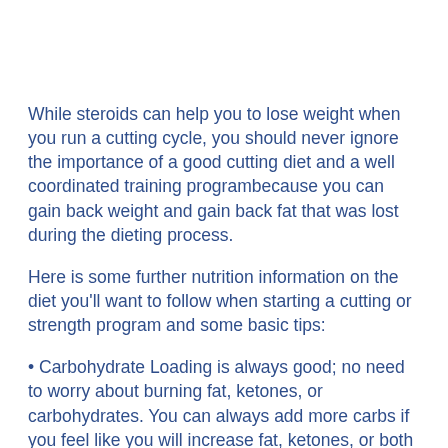While steroids can help you to lose weight when you run a cutting cycle, you should never ignore the importance of a good cutting diet and a well coordinated training programbecause you can gain back weight and gain back fat that was lost during the dieting process.
Here is some further nutrition information on the diet you'll want to follow when starting a cutting or strength program and some basic tips:
• Carbohydrate Loading is always good; no need to worry about burning fat, ketones, or carbohydrates. You can always add more carbs if you feel like you will increase fat, ketones, or both in your